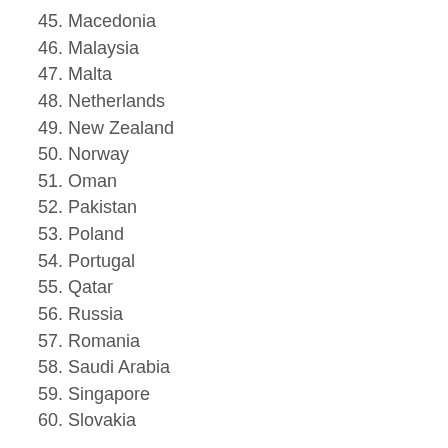45. Macedonia
46. Malaysia
47. Malta
48. Netherlands
49. New Zealand
50. Norway
51. Oman
52. Pakistan
53. Poland
54. Portugal
55. Qatar
56. Russia
57. Romania
58. Saudi Arabia
59. Singapore
60. Slovakia